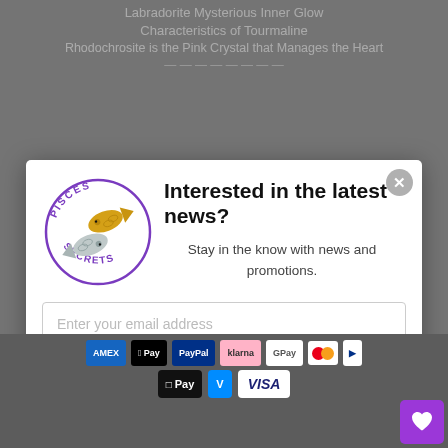Labradorite Mysterious Inner Glow
Characteristics of Tourmaline
Rhodochrosite is the Pink Crystal that Manages the Heart
[Figure (screenshot): Newsletter signup modal popup from 'Pisces Secrets' website. The modal contains the Pisces Secrets circular logo (two fish, gold and silver), a bold headline 'Interested in the latest news?', subtext 'Stay in the know with news and promotions.', an email input field, and a dark 'Subscribe' button. A close (X) button is in the top-right corner.]
[Figure (infographic): Payment method icons row including Amex, Apple Pay, PayPal, Klarna, Google Pay, Mastercard, and a partial icon, plus a second row with OPay, Venmo, and Visa logos.]
[Figure (other): Purple wishlist/heart button in bottom-right corner.]